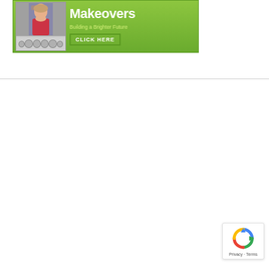[Figure (illustration): Green banner advertisement showing a video player with a person on screen, large text 'Makeovers', subtitle 'Building a Brighter Future', and a 'CLICK HERE' button]
[Figure (logo): reCAPTCHA badge in bottom-right corner with circular arrow logo, 'Privacy' and 'Terms' links]